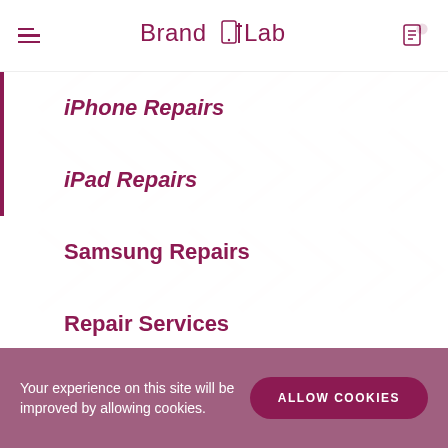Brand Lab - navigation header with hamburger menu and cart icon
iPhone Repairs
iPad Repairs
Samsung Repairs
Repair Services
Brand Lab
Your experience on this site will be improved by allowing cookies.
ALLOW COOKIES